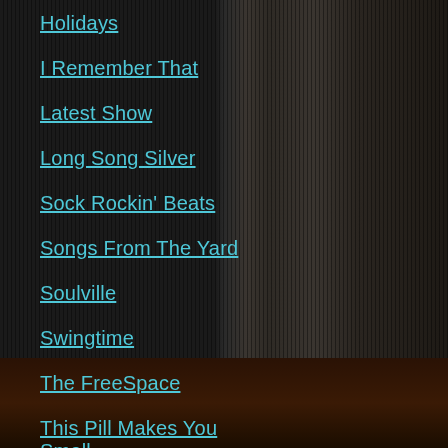Holidays
I Remember That
Latest Show
Long Song Silver
Sock Rockin' Beats
Songs From The Yard
Soulville
Swingtime
The FreeSpace
This Pill Makes You Small
Time For Bob
Uncategorized